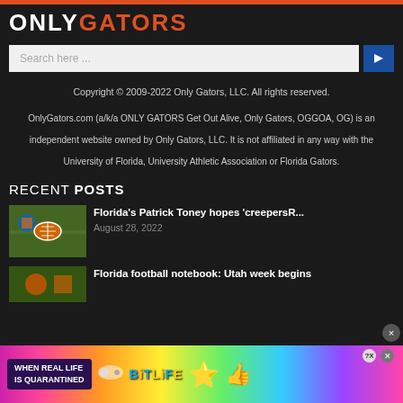[Figure (logo): OnlyGators website logo with 'ONLY' in white and 'GATORS' in orange on dark background, with orange top bar]
[Figure (screenshot): Search bar input field with placeholder 'Search here ...' and blue arrow button]
Copyright © 2009-2022 Only Gators, LLC. All rights reserved.
OnlyGators.com (a/k/a ONLY GATORS Get Out Alive, Only Gators, OGGOA, OG) is an independent website owned by Only Gators, LLC. It is not affiliated in any way with the University of Florida, University Athletic Association or Florida Gators.
RECENT POSTS
Florida's Patrick Toney hopes 'creepersR...
August 28, 2022
Florida football notebook: Utah week begins
[Figure (infographic): Advertisement banner for BitLife game with colorful gradient background, text 'WHEN REAL LIFE IS QUARANTINED', BitLife logo, star emoji character, and close buttons]